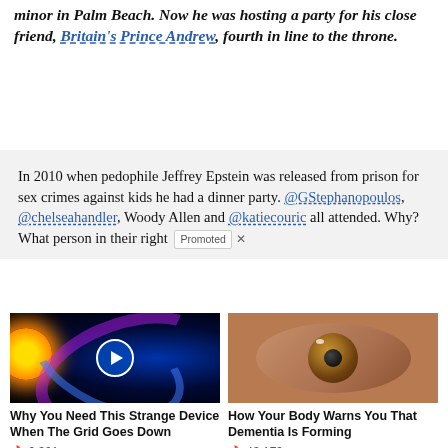minor in Palm Beach. Now he was hosting a party for his close friend, Britain's Prince Andrew, fourth in line to the throne.
In 2010 when pedophile Jeffrey Epstein was released from prison for sex crimes against kids he had a dinner party. @GStephanopoulos, @chelseahandler, Woody Allen and @katiecouric all attended. Why? What person in their right [mind]
[Figure (photo): Space/solar flare image with play button overlay for video ad]
Why You Need This Strange Device When The Grid Goes Down
🔥 6,391
[Figure (photo): Close-up photo of a human eye with brown/hazel iris]
How Your Body Warns You That Dementia Is Forming
🔥 43,179